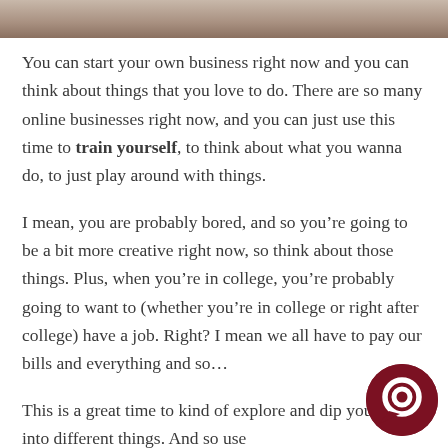[Figure (photo): Partial photo strip at top of page, showing a cropped image (person or scene, mostly obscured).]
You can start your own business right now and you can think about things that you love to do. There are so many online businesses right now, and you can just use this time to train yourself, to think about what you wanna do, to just play around with things.
I mean, you are probably bored, and so you’re going to be a bit more creative right now, so think about those things. Plus, when you’re in college, you’re probably going to want to (whether you’re in college or right after college) have a job. Right? I mean we all have to pay our bills and everything and so…
This is a great time to kind of explore and dip your toes into different things. And so use